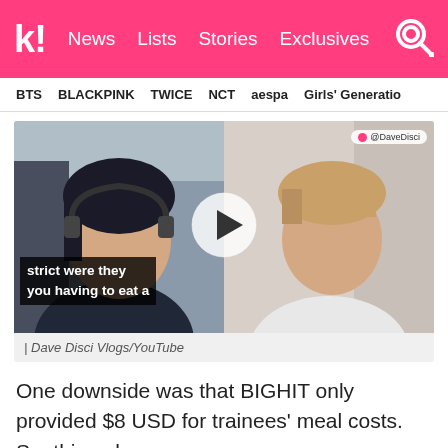koreaboo | News  Lists  Stories  Exclusives
BTS  BLACKPINK  TWICE  NCT  aespa  Girls' Generation
[Figure (screenshot): Video thumbnail split-screen showing two people (left person with headphones, right person with light hair), with a play button overlay, subtitle text 'strict were they you having to eat a', and @DaveDisci channel tag in top right]
| Dave Disci Vlogs/YouTube
One downside was that BIGHIT only provided $8 USD for trainees' meal costs. So, this only